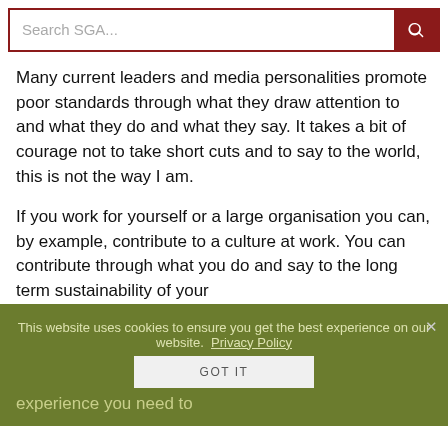Search SGA...
Many current leaders and media personalities promote poor standards through what they draw attention to and what they do and what they say. It takes a bit of courage not to take short cuts and to say to the world, this is not the way I am.
If you work for yourself or a large organisation you can, by example, contribute to a culture at work. You can contribute through what you do and say to the long term sustainability of your organisation in every sense, environmentally, financially and in terms of personal fulfilment.
I have no doubt th[at I am] aching to the converted, but from my experience you need to
This website uses cookies to ensure you get the best experience on our website. Privacy Policy
GOT IT